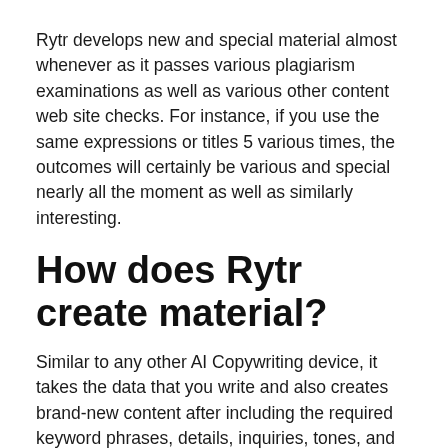Rytr develops new and special material almost whenever as it passes various plagiarism examinations as well as various other content web site checks. For instance, if you use the same expressions or titles 5 various times, the outcomes will certainly be various and special nearly all the moment as well as similarly interesting.
How does Rytr create material?
Similar to any other AI Copywriting device, it takes the data that you write and also creates brand-new content after including the required keyword phrases, details, inquiries, tones, and different other devices